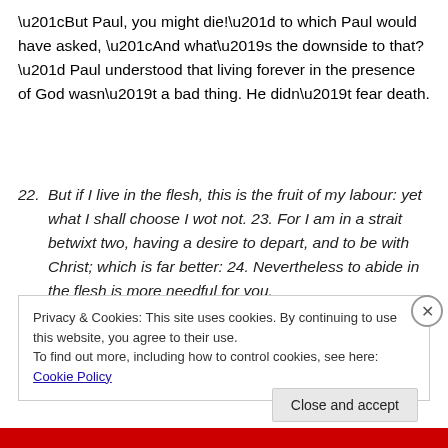“But Paul, you might die!” to which Paul would have asked, “And what’s the downside to that?” Paul understood that living forever in the presence of God wasn’t a bad thing. He didn’t fear death.
22. But if I live in the flesh, this is the fruit of my labour: yet what I shall choose I wot not. 23. For I am in a strait betwixt two, having a desire to depart, and to be with Christ; which is far better: 24. Nevertheless to abide in the flesh is more needful for you.
Privacy & Cookies: This site uses cookies. By continuing to use this website, you agree to their use.
To find out more, including how to control cookies, see here: Cookie Policy